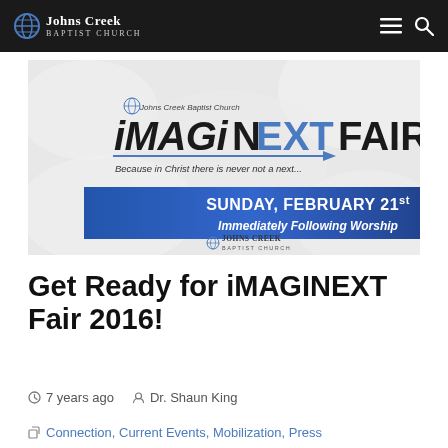Johns Creek Baptist Church
[Figure (illustration): iMAGINEXT Fair promotional banner for Johns Creek Baptist Church — Sunday, February 21st, Immediately Following Worship]
Get Ready for iMAGINEXT Fair 2016!
7 years ago   Dr. Shaun King
Connection, Current Events, Mobilization, Press